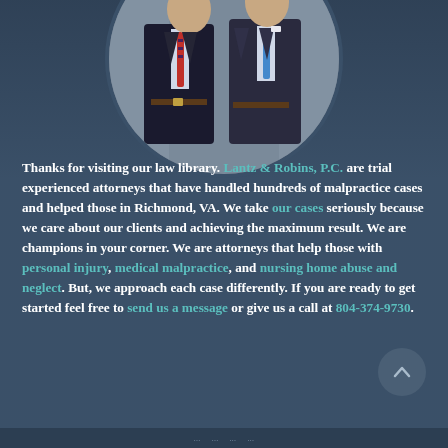[Figure (photo): Circular cropped photo of two male attorneys in suits — one wearing a red striped tie, one wearing a blue tie — photographed from roughly waist up against a building background.]
Thanks for visiting our law library. Lantz & Robins, P.C. are trial experienced attorneys that have handled hundreds of malpractice cases and helped those in Richmond, VA. We take our cases seriously because we care about our clients and achieving the maximum result. We are champions in your corner. We are attorneys that help those with personal injury, medical malpractice, and nursing home abuse and neglect. But, we approach each case differently. If you are ready to get started feel free to send us a message or give us a call at 804-374-9730.
[Figure (other): Circular scroll-to-top button with an upward-pointing chevron/caret arrow, dark blue-grey background, positioned in the lower right of the page.]
...  ...  ...  ...